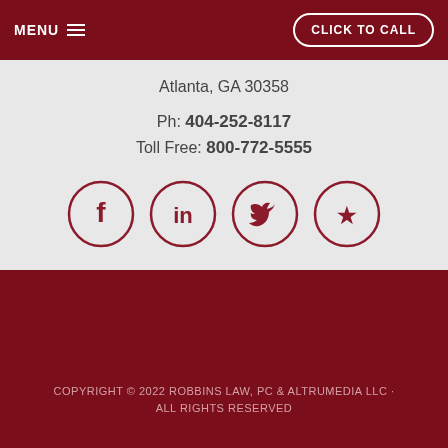MENU  CLICK TO CALL
Atlanta, GA 30358
Ph: 404-252-8117
Toll Free: 800-772-5555
[Figure (illustration): Four circular social media icons: Facebook, LinkedIn, Twitter, Yelp — outlined in dark red/maroon on light gray background]
COPYRIGHT © 2022 ROBBINS LAW, PC & ALTRUMEDIA LLC · ALL RIGHTS RESERVED